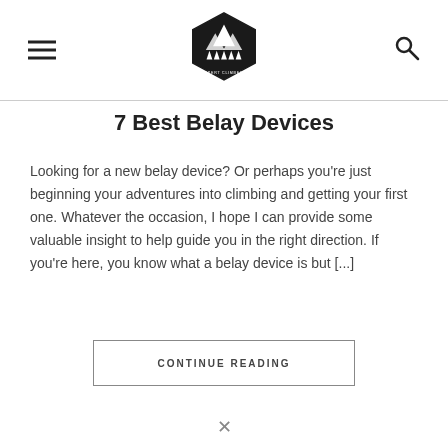Expert Climbers logo with hamburger menu and search icon
7 Best Belay Devices
Looking for a new belay device? Or perhaps you're just beginning your adventures into climbing and getting your first one. Whatever the occasion, I hope I can provide some valuable insight to help guide you in the right direction. If you're here, you know what a belay device is but [...]
CONTINUE READING